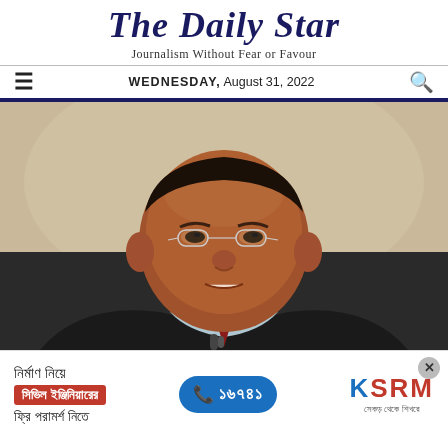The Daily Star
Journalism Without Fear or Favour
WEDNESDAY, August 31, 2022
[Figure (photo): Close-up portrait photo of an older South Asian man wearing glasses and a dark suit jacket speaking at a microphone]
[Figure (other): Advertisement banner in Bengali for KSRM construction company: 'নির্মাণ নিয়ে সিভিল ইঞ্জিনিয়ারের ফ্রি পরামর্শ নিতে' with phone number ১৬৭৪১ and KSRM logo]